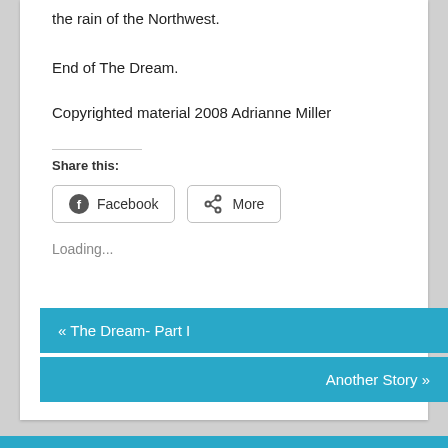the rain of the Northwest.
End of The Dream.
Copyrighted material 2008 Adrianne Miller
Share this:
Facebook
More
Loading...
« The Dream- Part I
Another Story »